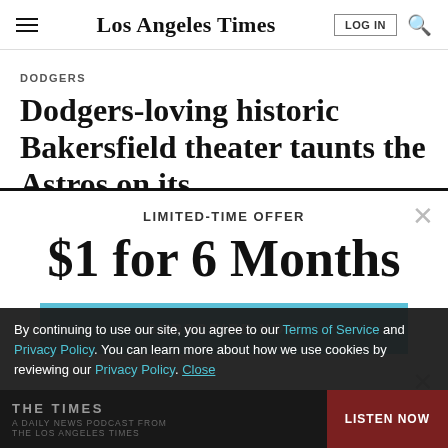Los Angeles Times
DODGERS
Dodgers-loving historic Bakersfield theater taunts the Astros on its
LIMITED-TIME OFFER
$1 for 6 Months
SUBSCRIBE NOW
By continuing to use our site, you agree to our Terms of Service and Privacy Policy. You can learn more about how we use cookies by reviewing our Privacy Policy. Close